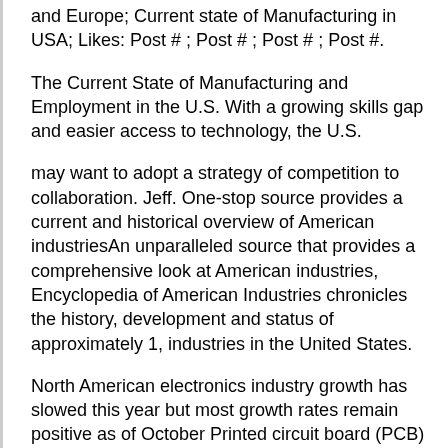and Europe; Current state of Manufacturing in USA; Likes: Post # ; Post # ; Post # ; Post #.
The Current State of Manufacturing and Employment in the U.S. With a growing skills gap and easier access to technology, the U.S.
may want to adopt a strategy of competition to collaboration. Jeff. One-stop source provides a current and historical overview of American industriesAn unparalleled source that provides a comprehensive look at American industries, Encyclopedia of American Industries chronicles the history, development and status of approximately 1, industries in the United States.
North American electronics industry growth has slowed this year but most growth rates remain positive as of October Printed circuit board (PCB) sales growth strengthened to percent compared to the same period last year.
Electronics manufacturing. State Manufacturing Data Economic conditions can vary widely by U.S. state and region. The NAM's data on economic conditions and manufacturing by state provide the